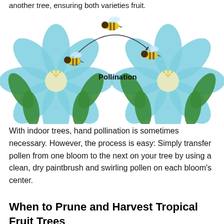another tree, ensuring both varieties fruit.
[Figure (illustration): Pollination diagram showing two blue flowers with bees. A bee flies in an arc from the left flower to the right flower. The word 'Pollination' appears in bold in the center between the flowers.]
With indoor trees, hand pollination is sometimes necessary. However, the process is easy: Simply transfer pollen from one bloom to the next on your tree by using a clean, dry paintbrush and swirling pollen on each bloom’s center.
When to Prune and Harvest Tropical Fruit Trees